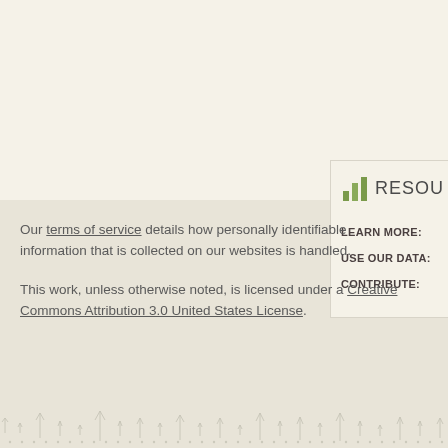Our terms of service details how personally identifiable information that is collected on our websites is handled.

This work, unless otherwise noted, is licensed under a Creative Commons Attribution 3.0 United States License.
[Figure (infographic): Resources panel with bar chart icon and links: LEARN MORE:, USE OUR DATA:, CONTRIBUTE:]